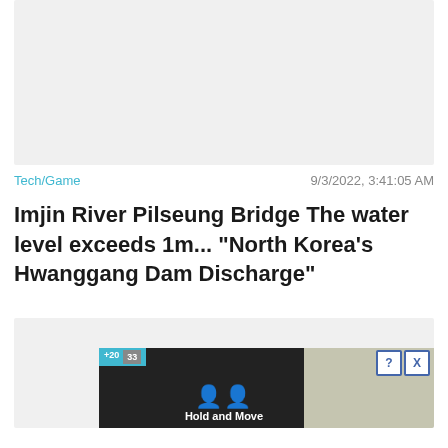[Figure (photo): Top image placeholder, light gray background, likely a news article header photo]
Tech/Game
9/3/2022, 3:41:05 AM
Imjin River Pilseung Bridge The water level exceeds 1m... "North Korea's Hwanggang Dam Discharge"
[Figure (photo): Bottom image area with advertisement overlay showing 'Hold and Move' game ad and a nature/trees photo on the right, with Close X button]
Close X
Hold and Move